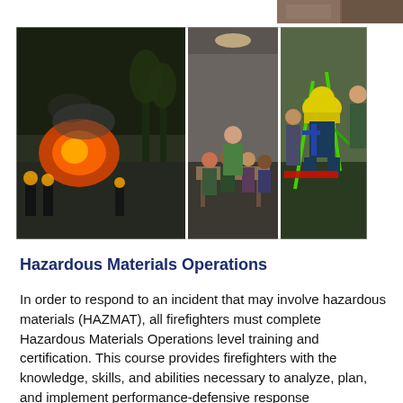[Figure (photo): Small photo strip at top right corner, partially visible]
[Figure (photo): Three-panel photo collage showing firefighting/hazmat training scenes: left panel shows firefighters battling an orange fireball at night; middle panel shows an indoor training session with instructor and participants around a table; right panel shows firefighters in gear working with rescue equipment outdoors.]
Hazardous Materials Operations
In order to respond to an incident that may involve hazardous materials (HAZMAT), all firefighters must complete Hazardous Materials Operations level training and certification. This course provides firefighters with the knowledge, skills, and abilities necessary to analyze, plan, and implement performance-defensive response